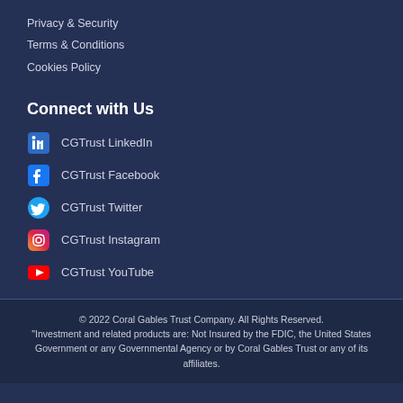Privacy & Security
Terms & Conditions
Cookies Policy
Connect with Us
CGTrust LinkedIn
CGTrust Facebook
CGTrust Twitter
CGTrust Instagram
CGTrust YouTube
© 2022 Coral Gables Trust Company. All Rights Reserved.
"Investment and related products are: Not Insured by the FDIC, the United States Government or any Governmental Agency or by Coral Gables Trust or any of its affiliates.